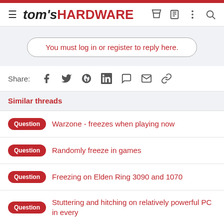tom's HARDWARE
You must log in or register to reply here.
Share:
Similar threads
Question  Warzone - freezes when playing now
Question  Randomly freeze in games
Question  Freezing on Elden Ring 3090 and 1070
Question  Stuttering and hitching on relatively powerful PC in every